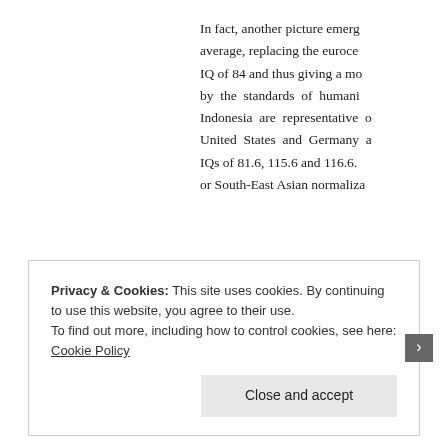In fact, another picture emerges on average, replacing the eurocentric IQ of 84 and thus giving a more by the standards of humanity, Indonesia are representative of United States and Germany a IQs of 81.6, 115.6 and 116.6. or South-East Asian normaliza
Privacy & Cookies: This site uses cookies. By continuing to use this website, you agree to their use. To find out more, including how to control cookies, see here: Cookie Policy
Close and accept